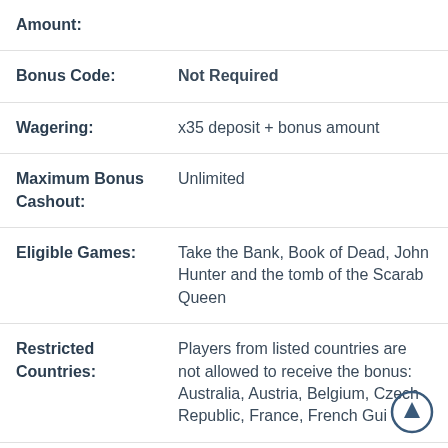| Field | Value |
| --- | --- |
| Amount: |  |
| Bonus Code: | Not Required |
| Wagering: | x35 deposit + bonus amount |
| Maximum Bonus Cashout: | Unlimited |
| Eligible Games: | Take the Bank, Book of Dead, John Hunter and the tomb of the Scarab Queen |
| Restricted Countries: | Players from listed countries are not allowed to receive the bonus: Australia, Austria, Belgium, Czech Republic, France, French Gui... |